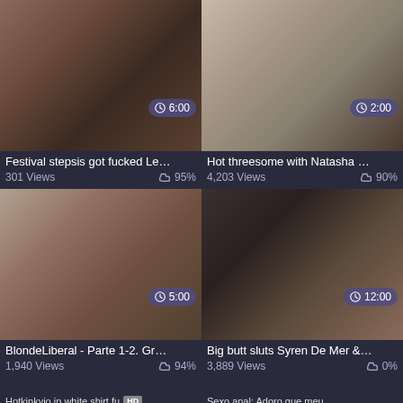[Figure (screenshot): Video thumbnail grid - top left: tattooed woman, duration 6:00]
Festival stepsis got fucked Le…
301 Views  👍 95%
[Figure (screenshot): Video thumbnail grid - top right: blonde woman, duration 2:00]
Hot threesome with Natasha …
4,203 Views  👍 90%
[Figure (screenshot): Video thumbnail grid - middle left: couple, duration 5:00]
BlondeLiberal - Parte 1-2. Gr…
1,940 Views  👍 94%
[Figure (screenshot): Video thumbnail grid - middle right: woman in fishnets, duration 12:00]
Big butt sluts Syren De Mer &…
3,889 Views  👍 0%
[Figure (screenshot): Bottom left partial thumbnail: Hotkinkyjo in white shirt fu, HD badge]
[Figure (screenshot): Bottom right partial thumbnail: Sexo anal; Adoro que meu]